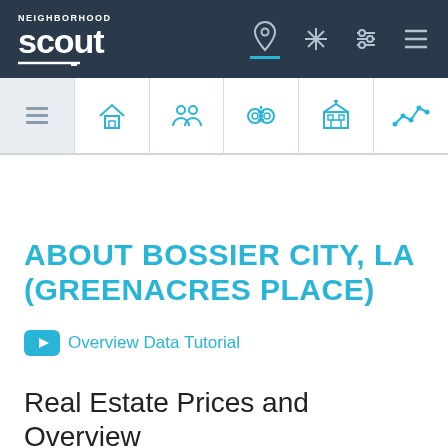NeighborhoodScout navigation header
[Figure (screenshot): NeighborhoodScout top navigation bar with logo and icons for location, compass, settings, and menu]
[Figure (screenshot): Second navigation row with icons for overview, real estate, demographics, crime, schools, and market trends]
ABOUT BOSSIER CITY, LA (GREENACRES PLACE)
Overview Data Tutorial
Real Estate Prices and Overview